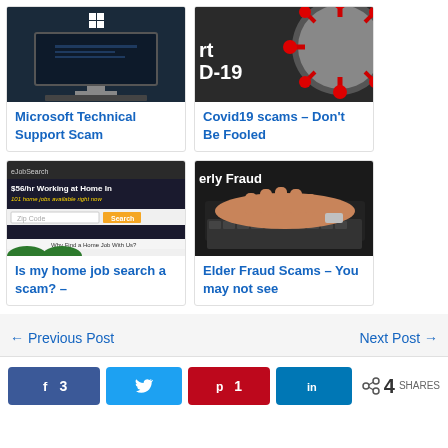[Figure (photo): Screenshot-style image of a desktop computer with Windows logo on dark background]
Microsoft Technical Support Scam
[Figure (photo): COVID-19 coronavirus particle on dark background with text 'D-19']
Covid19 scams – Don't Be Fooled
[Figure (screenshot): Job search website screenshot showing '$56/hr Working at Home In' with zip code and search button]
Is my home job search a scam? –
[Figure (photo): Elderly hands typing on keyboard with text 'erly Fraud']
Elder Fraud Scams – You may not see
← Previous Post
Next Post →
f 3
Twitter share button
p 1
LinkedIn share button
4 SHARES